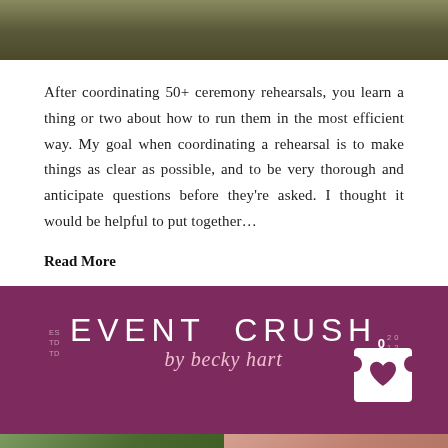[Figure (photo): Top portion of a landscape/outdoor photo showing grass or ground, cropped at the top of the page]
After coordinating 50+ ceremony rehearsals, you learn a thing or two about how to run them in the most efficient way. My goal when coordinating a rehearsal is to make things as clear as possible, and to be very thorough and anticipate questions before they're asked. I thought it would be helpful to put together…
Read More
[Figure (logo): Event Crush by Becky Hart logo on dark magenta/burgundy background. Logo features 'ESTD TD' on left, large serif/sans text 'EVENT CRUSH', cursive script 'by becky hart' below, and '20 12' on right. A white ticket/card icon with heart is on the right side with a '0' count.]
[Figure (photo): Two partial thumbnail photos at the bottom: left shows green outdoor/floral scene, right shows a warm-toned portrait or floral scene]